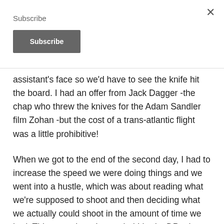Subscribe
Subscribe (button)
assistant's face so we'd have to see the knife hit the board. I had an offer from Jack Dagger -the chap who threw the knives for the Adam Sandler film Zohan -but the cost of a trans-atlantic flight was a little prohibitive!
When we got to the end of the second day, I had to increase the speed we were doing things and we went into a hustle, which was about reading what we're supposed to shoot and then deciding what we actually could shoot in the amount of time we had. This was where I was glad I had a DP, who became a second unit director. There were a number of